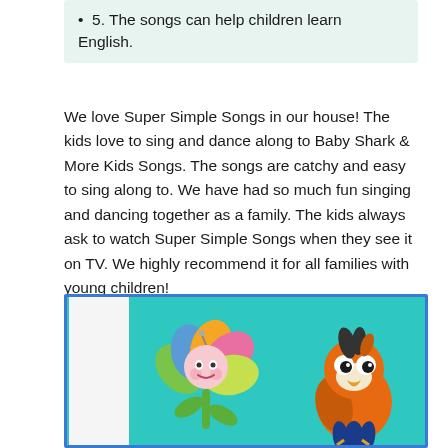5. The songs can help children learn English.
We love Super Simple Songs in our house! The kids love to sing and dance along to Baby Shark & More Kids Songs. The songs are catchy and easy to sing along to. We have had so much fun singing and dancing together as a family. The kids always ask to watch Super Simple Songs when they see it on TV. We highly recommend it for all families with young children!
[Figure (illustration): Cartoon characters from Super Simple Songs: a colorful flower character on the left and a parrot/bird character on the right, on a teal background, framed with a blue border.]